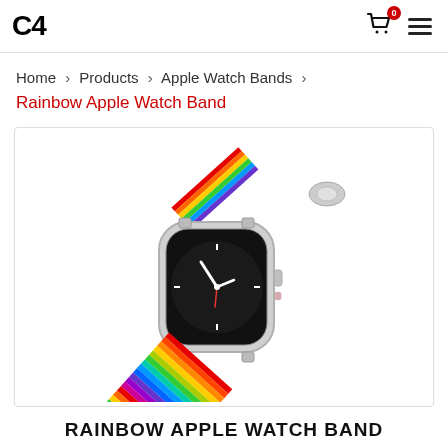C4 [logo] | cart (0) | menu
Home > Products > Apple Watch Bands > Rainbow Apple Watch Band
[Figure (photo): Product photo of a Rainbow Apple Watch Band showing an Apple Watch with a rainbow-striped silicone band, partially detached, displayed on white background.]
RAINBOW APPLE WATCH BAND